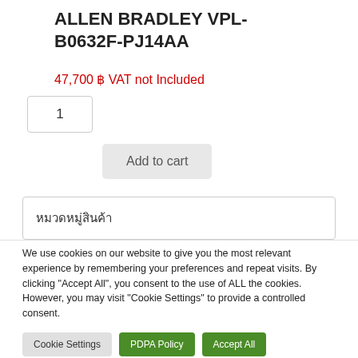ALLEN BRADLEY VPL-B0632F-PJ14AA
47,700 ฿ VAT not Included
1
Add to cart
หมวดหมู่สินค้า
We use cookies on our website to give you the most relevant experience by remembering your preferences and repeat visits. By clicking "Accept All", you consent to the use of ALL the cookies. However, you may visit "Cookie Settings" to provide a controlled consent.
Cookie Settings
PDPA Policy
Accept All